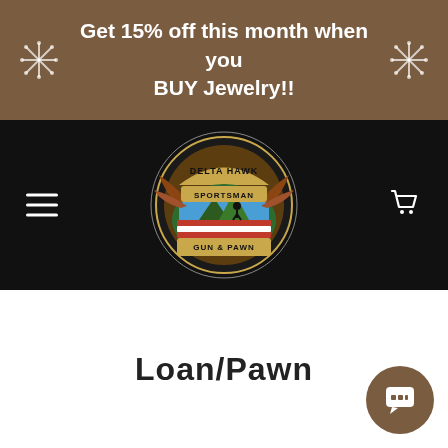Get 15% off this month when you BUY Jewelry!!
[Figure (logo): Delta Hawk Sportsman Gun & Pawn circular logo with eagle wings and American flag motif]
Loan/Pawn